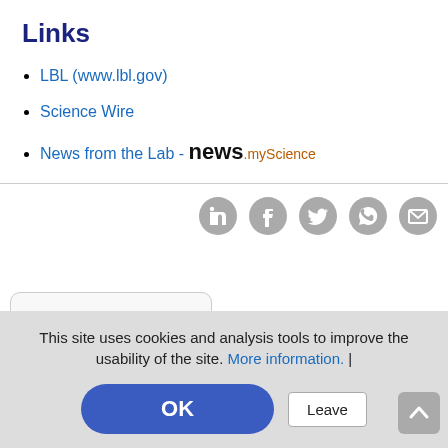Links
LBL (www.lbl.gov)
Science Wire
News from the Lab - news.myScience
[Figure (infographic): Social sharing icons: LinkedIn, Facebook, Twitter, WhatsApp, Email - all gray circle icons]
[Figure (screenshot): Cookie consent overlay with text: This site uses cookies and analysis tools to improve the usability of the site. More information. | OK button (blue rounded) and Leave button (white bordered)]